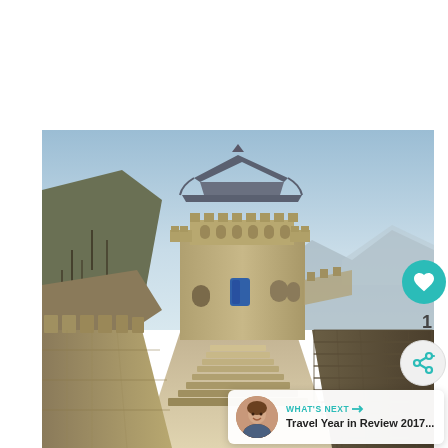[Figure (photo): Photo of the Great Wall of China showing a stone watchtower with a traditional Chinese rooftop (blue door visible), stone steps leading up to it, the wall stretching into the distance on both sides, with mountains in the background and a hazy blue sky. Taken in winter/autumn with bare trees visible on the left hillside.]
1
WHAT'S NEXT → Travel Year in Review 2017...